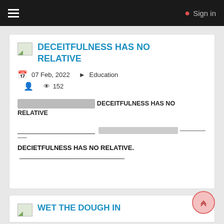≡   Sign in
DECEITFULNESS HAS NO RELATIVE
07 Feb, 2022   Education
152 views
[blurred] DECEITFULNESS HAS NO RELATIVE
________________________ [blurred] ----------------------- DECIETFULNESS HAS NO RELATIVE. ____________________________
WET THE DOUGH IN